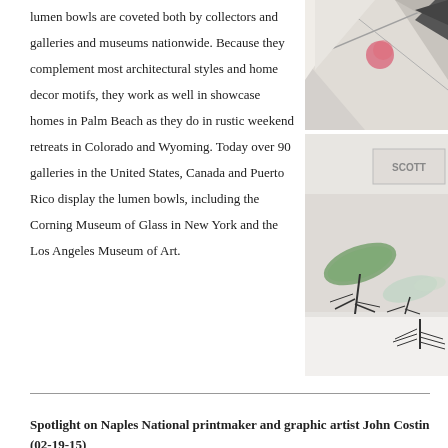lumen bowls are coveted both by collectors and galleries and museums nationwide. Because they complement most architectural styles and home decor motifs, they work as well in showcase homes in Palm Beach as they do in rustic weekend retreats in Colorado and Wyoming. Today over 90 galleries in the United States, Canada and Puerto Rico display the lumen bowls, including the Corning Museum of Glass in New York and the Los Angeles Museum of Art.
[Figure (photo): Top portion of a gallery exhibit showing glass artwork with light reflections and pink/red accent]
[Figure (photo): Bottom portion of gallery exhibit showing glass leaf/petal shaped sculptures on metal stands displayed on a white table, with SCOTT text visible on wall]
Spotlight on Naples National printmaker and graphic artist John Costin (02-19-15)